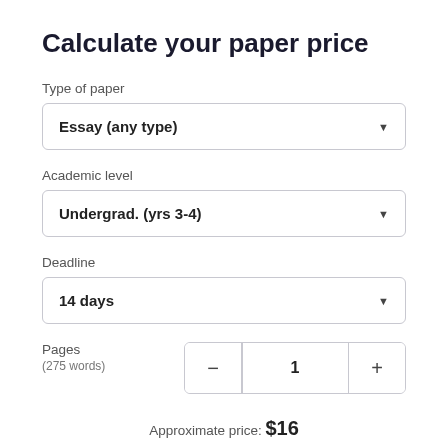Calculate your paper price
Type of paper
Essay (any type)
Academic level
Undergrad. (yrs 3-4)
Deadline
14 days
Pages
(275 words)
1
Approximate price: $16